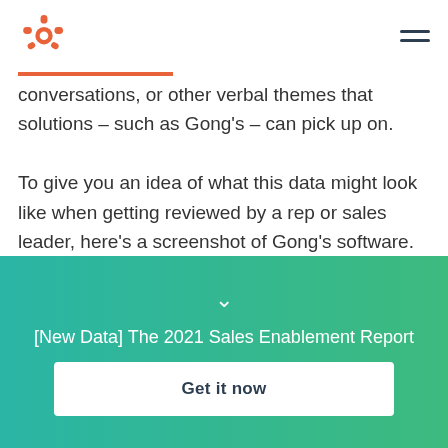HubSpot logo and navigation menu
conversations, or other verbal themes that solutions – such as Gong's – can pick up on.

To give you an idea of what this data might look like when getting reviewed by a rep or sales leader, here's a screenshot of Gong's software. The image shows a recording of a sales demo as well as a list of discussed topics that the AI-powered tool has picked up from the audio:
[New Data] The 2021 Sales Enablement Report
Get it now